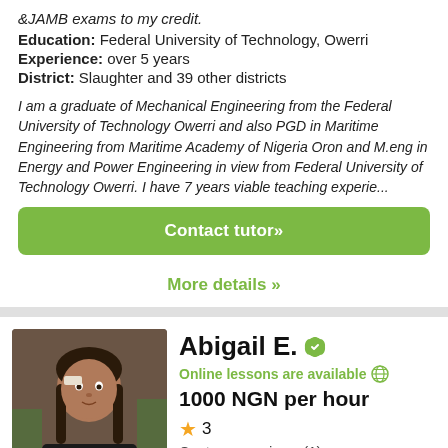&JAMB exams to my credit.
Education: Federal University of Technology, Owerri
Experience: over 5 years
District: Slaughter and 39 other districts
I am a graduate of Mechanical Engineering from the Federal University of Technology Owerri and also PGD in Maritime Engineering from Maritime Academy of Nigeria Oron and M.eng in Energy and Power Engineering in view from Federal University of Technology Owerri. I have 7 years viable teaching experie...
Contact tutor»
More details »
[Figure (photo): Photo of tutor Abigail E., a young woman with braided hair]
Abigail E.
Online lessons are available
1000 NGN per hour
3
Customer reviews (1)